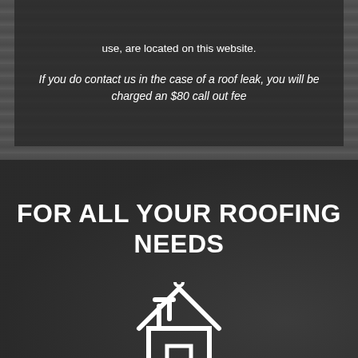use, are located on this website.
If you do contact us in the case of a roof leak, you will be charged an $80 call out fee
FOR ALL YOUR ROOFING NEEDS
[Figure (illustration): White outline icon of a house with roof and chimney on dark background]